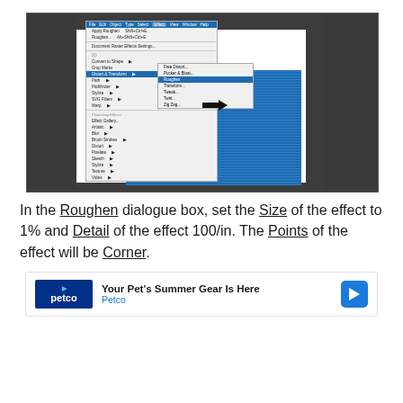[Figure (screenshot): Adobe Illustrator screenshot showing the Effect menu open with Distort & Transform > Roughen highlighted, with an arrow pointing to the Roughen option in the submenu.]
In the Roughen dialogue box, set the Size of the effect to 1% and Detail of the effect 100/in. The Points of the effect will be Corner.
[Figure (screenshot): Petco advertisement banner: 'Your Pet's Summer Gear Is Here' with Petco logo and navigation arrow icon.]